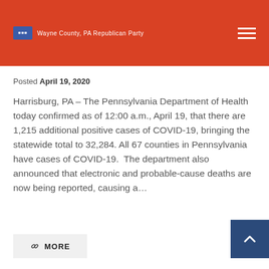Wayne County, PA Republican Party
Posted April 19, 2020
Harrisburg, PA – The Pennsylvania Department of Health today confirmed as of 12:00 a.m., April 19, that there are 1,215 additional positive cases of COVID-19, bringing the statewide total to 32,284. All 67 counties in Pennsylvania have cases of COVID-19. The department also announced that electronic and probable-cause deaths are now being reported, causing a…
MORE